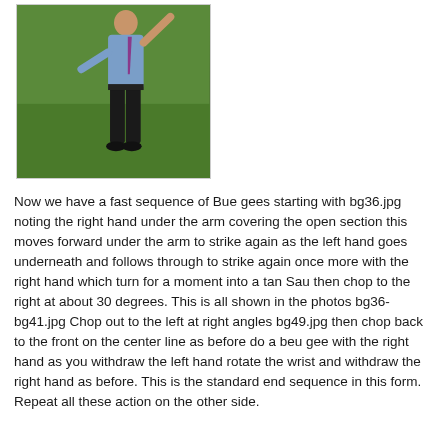[Figure (photo): A person standing on a grass field performing a martial arts or sports movement, wearing dark trousers, a light blue shirt, and dark shoes.]
Now we have a fast sequence of Bue gees starting with bg36.jpg noting the right hand under the arm covering the open section this moves forward under the arm to strike again as the left hand goes underneath and follows through to strike again once more with the right hand which turn for a moment into a tan Sau then chop to the right at about 30 degrees. This is all shown in the photos bg36-bg41.jpg Chop out to the left at right angles bg49.jpg then chop back to the front on the center line as before do a beu gee with the right hand as you withdraw the left hand rotate the wrist and withdraw the right hand as before. This is the standard end sequence in this form. Repeat all these action on the other side.